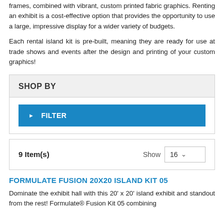frames, combined with vibrant, custom printed fabric graphics. Renting an exhibit is a cost-effective option that provides the opportunity to use a large, impressive display for a wider variety of budgets.
Each rental island kit is pre-built, meaning they are ready for use at trade shows and events after the design and printing of your custom graphics!
SHOP BY
FILTER
9 Item(s)   Show  16
FORMULATE FUSION 20X20 ISLAND KIT 05
Dominate the exhibit hall with this 20' x 20' island exhibit and standout from the rest! Formulate® Fusion Kit 05 combines...